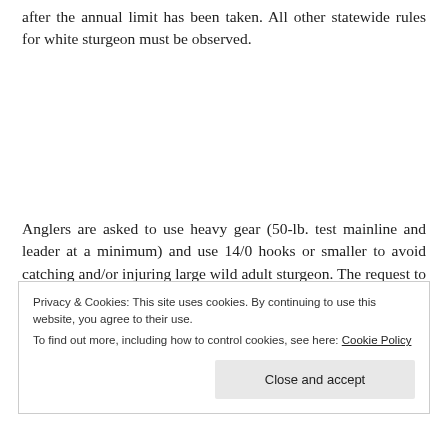after the annual limit has been taken. All other statewide rules for white sturgeon must be observed.
Anglers are asked to use heavy gear (50-lb. test mainline and leader at a minimum) and use 14/0 hooks or smaller to avoid catching and/or injuring large wild adult sturgeon. The request to use heavier
Privacy & Cookies: This site uses cookies. By continuing to use this website, you agree to their use.
To find out more, including how to control cookies, see here: Cookie Policy
Close and accept